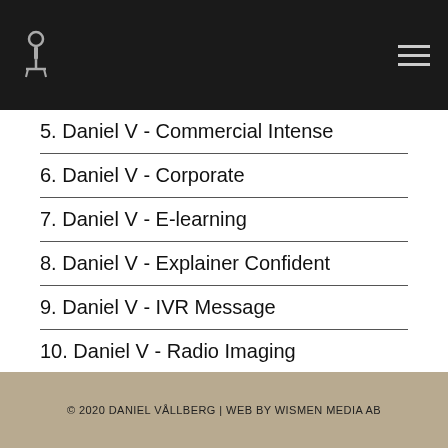Daniel Vållberg voice actor website header with logo and hamburger menu
5. Daniel V - Commercial Intense
6. Daniel V - Corporate
7. Daniel V - E-learning
8. Daniel V - Explainer Confident
9. Daniel V - IVR Message
10. Daniel V - Radio Imaging
11. Daniel V - Sponsor Message
12. Daniel V - Voice Acting Characters
© 2020 DANIEL VÅLLBERG | WEB BY WISMEN MEDIA AB